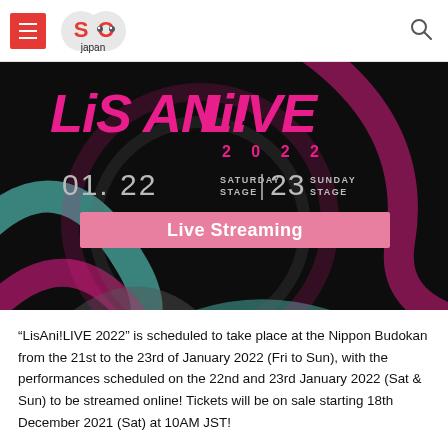SO Japan (navigation bar with hamburger menu and search icon)
[Figure (illustration): LisAni!LIVE 2022 event promotional banner. Dark background with colorful abstract swirls in pink, teal, and grey. Large pink stylized text 'LiS ANi! LIVE' at top, '2 0 2 2' below in pink. Date info: 01.22 SATURDAY STAGE | 23 SUNDAY STAGE. Pink bar with white text 'Live Streaming'.]
“LisAni!LIVE 2022” is scheduled to take place at the Nippon Budokan from the 21st to the 23rd of January 2022 (Fri to Sun), with the performances scheduled on the 22nd and 23rd January 2022 (Sat & Sun) to be streamed online! Tickets will be on sale starting 18th December 2021 (Sat) at 10AM JST!
“LisAni!LIVE” is a music festival produced since 2010 by the